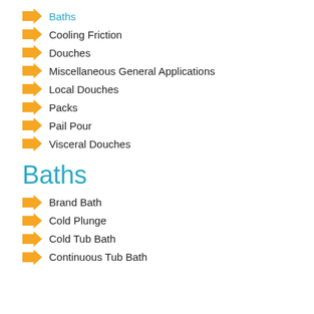Baths
Cooling Friction
Douches
Miscellaneous General Applications
Local Douches
Packs
Pail Pour
Visceral Douches
Baths
Brand Bath
Cold Plunge
Cold Tub Bath
Continuous Tub Bath